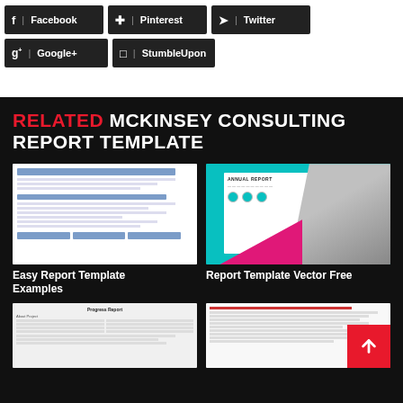[Figure (screenshot): Social share buttons row 1: Facebook, Pinterest, Twitter on dark background]
[Figure (screenshot): Social share buttons row 2: Google+, StumbleUpon on dark background]
RELATED MCKINSEY CONSULTING REPORT TEMPLATE
[Figure (screenshot): Thumbnail of Easy Report Template Examples document]
Easy Report Template Examples
[Figure (screenshot): Thumbnail of Report Template Vector Free - annual report cover with building and pink triangle]
Report Template Vector Free
[Figure (screenshot): Thumbnail of a progress report document]
[Figure (screenshot): Thumbnail of a text-based report document]